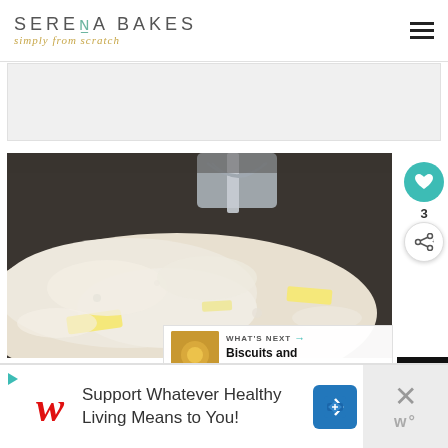SERENA BAKES simply from scratch
[Figure (photo): Close-up photo of flour and butter pieces in a dark mixing bowl, with a pastry cutter/scooper visible at top]
[Figure (infographic): What's Next arrow callout with thumbnail image and text: Biscuits and Sausage...]
[Figure (photo): Advertisement banner: Support Whatever Healthy Living Means to You! - Walgreens ad with navigation icon]